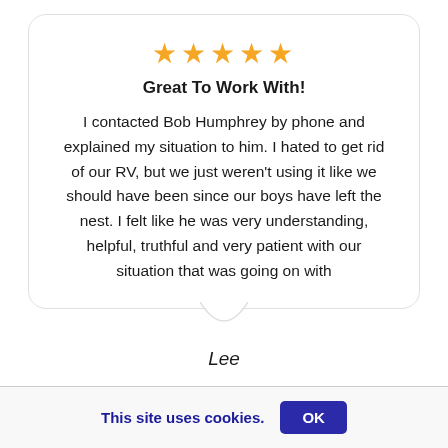[Figure (other): Five gold star rating icons displayed in a row]
Great To Work With!
I contacted Bob Humphrey by phone and explained my situation to him. I hated to get rid of our RV, but we just weren't using it like we should have been since our boys have left the nest. I felt like he was very understanding, helpful, truthful and very patient with our situation that was going on with
Lee
This site uses cookies.